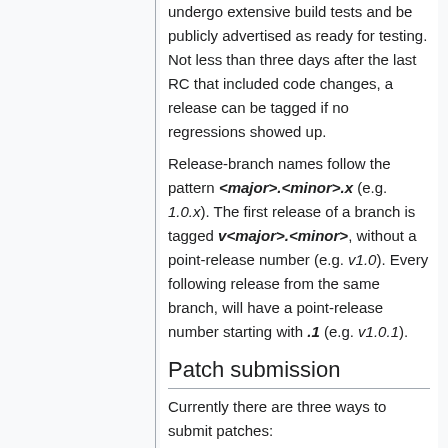undergo extensive build tests and be publicly advertised as ready for testing. Not less than three days after the last RC that included code changes, a release can be tagged if no regressions showed up.
Release-branch names follow the pattern <major>.<minor>.x (e.g. 1.0.x). The first release of a branch is tagged v<major>.<minor>, without a point-release number (e.g. v1.0). Every following release from the same branch, will have a point-release number starting with .1 (e.g. v1.0.1).
Patch submission
Currently there are three ways to submit patches:
1. Via our mailing list